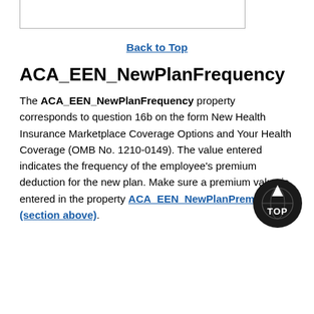[Figure (other): Partial bordered box at top of page, cut off at top edge]
Back to Top
ACA_EEN_NewPlanFrequency
The ACA_EEN_NewPlanFrequency property corresponds to question 16b on the form New Health Insurance Marketplace Coverage Options and Your Health Coverage (OMB No. 1210-0149). The value entered indicates the frequency of the employee's premium deduction for the new plan. Make sure a premium value is entered in the property ACA_EEN_NewPlanPremium (section above).
[Figure (logo): Back to Top circular icon with globe and arrow pointing up, text TOP]